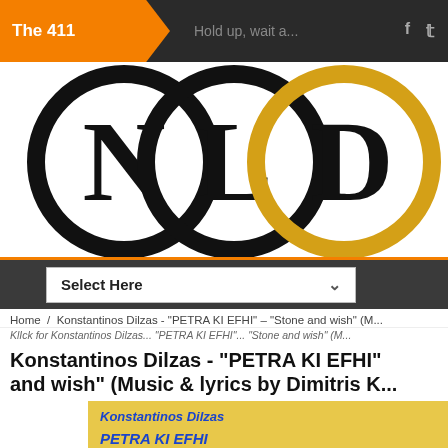The 411
[Figure (logo): NLD logo with three overlapping circles containing letters N, L, D in black and gold]
Select Here
Home / Konstantinos Dilzas - "PETRA KI EFHI" – "Stone and wish" (M...
Konstantinos Dilzas - "PETRA KI EFHI" – "Stone and wish" (Music & lyrics by Dimitris K...
[Figure (photo): Album cover with yellow background showing text 'Konstantinos Dilzas' and 'PETRA KI EFHI' in blue, with a photo of a person on the right]